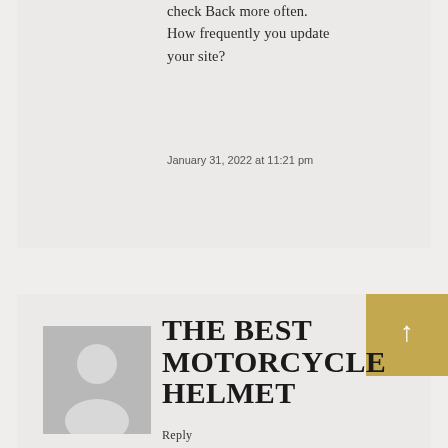check back more often. How frequently you update your site?
January 31, 2022 at 11:21 pm
[Figure (photo): Gray placeholder avatar image of a person silhouette]
THE BEST MOTORCYCLE HELMET
Reply